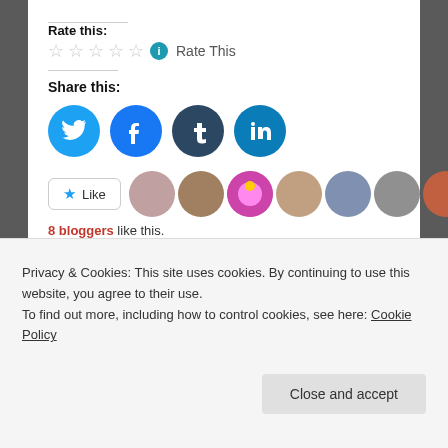Rate this:
[Figure (other): Five empty star rating icons followed by an info icon and 'Rate This' text]
Share this:
[Figure (other): Social share buttons: Twitter, Facebook, Tumblr, LinkedIn]
[Figure (other): Like button with star icon and 8 blogger avatar thumbnails]
8 bloggers like this.
Related
Privacy & Cookies: This site uses cookies. By continuing to use this website, you agree to their use.
To find out more, including how to control cookies, see here: Cookie Policy